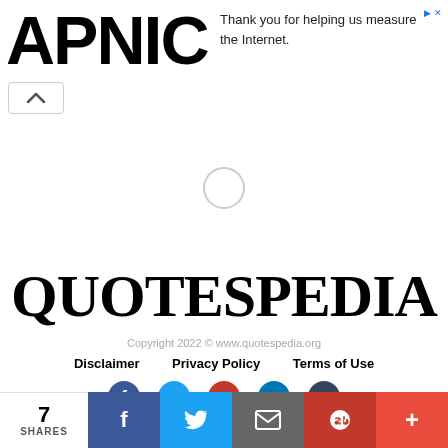[Figure (logo): APNIC logo in large black bold text with advertisement text 'Thank you for helping us measure the Internet.' to the right]
[Figure (other): Loading spinner circle in center of page]
QUOTESPEDIA
Copyright 2022 © www.quotespedia.org
Disclaimer   Privacy Policy   Terms of Use
[Figure (other): Social media icons: Facebook, Twitter, Pinterest, LinkedIn, Tumblr]
7 SHARES  f  t  [email]  p  +